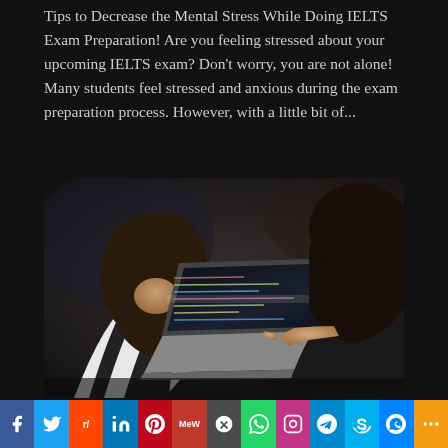Tips to Decrease the Mental Stress While Doing IELTS Exam Preparation! Are you feeling stressed about your upcoming IELTS exam? Don't worry, you are not alone! Many students feel stressed and anxious during the exam preparation process. However, with a little bit of...
[Figure (photo): Two young women viewed from behind looking at a laptop screen showing code. One is pointing at the screen. They are seated at what appears to be a table.]
Social share bar with icons: Facebook, Twitter, Reddit, LinkedIn, Pinterest, MeWe, Mix, WhatsApp, Instagram, Telegram, Skype, Messenger, More